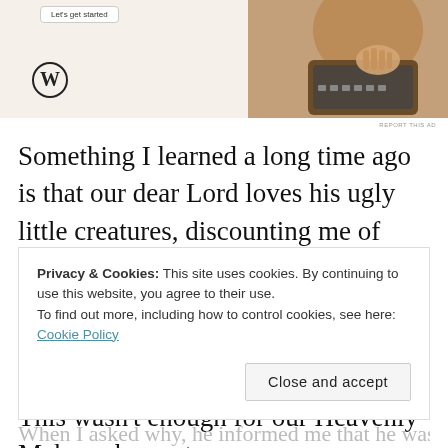[Figure (screenshot): WordPress advertisement banner with logo and photo of person typing on laptop, with 'Let's get started' button. Background is light beige with WordPress logo bottom left.]
REPORT THIS AD
Something I learned a long time ago is that our dear Lord loves his ugly little creatures, discounting me of course. It started to rain. As we were inside, people came flocking into our building, and even our little spider stand started making a little cash. This wasn’t enough for our Heavenly Maker who sent over a
Privacy & Cookies: This site uses cookies. By continuing to use this website, you agree to their use.
To find out more, including how to control cookies, see here: Cookie Policy
Close and accept
When I asked why, he informed me that he was a